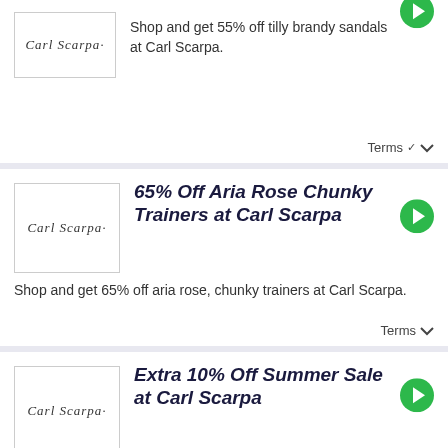Shop and get 55% off tilly brandy sandals at Carl Scarpa.
Terms
65% Off Aria Rose Chunky Trainers at Carl Scarpa
Shop and get 65% off aria rose, chunky trainers at Carl Scarpa.
Terms
Extra 10% Off Summer Sale at Carl Scarpa
Shop and get extra 10% off summer sale at Carl Scarpa.